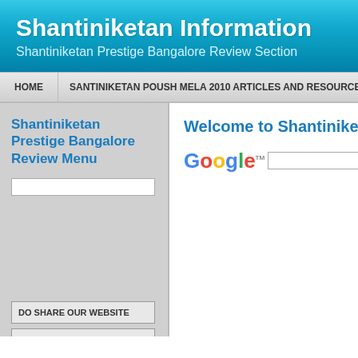Shantiniketan Information
Shantiniketan Prestige Bangalore Review Section
HOME | SANTINIKETAN POUSH MELA 2010 ARTICLES AND RESOURCES | SIT
Shantiniketan Prestige Bangalore Review Menu
Welcome to Shantiniketan
[Figure (screenshot): Google search bar with Google logo and text input field]
DO SHARE OUR WEBSITE
SHANTINIKETAN HOLIDAY HOME